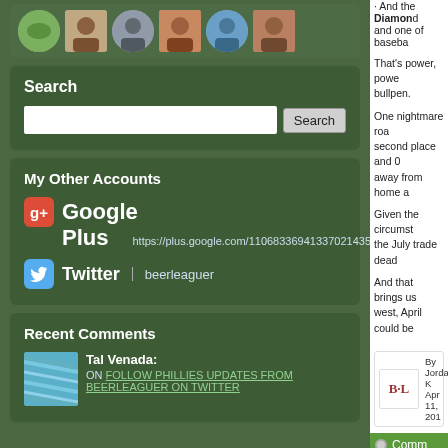[Figure (photo): Row of profile avatar thumbnails/photos in a dark green rounded box]
Search
Search input field and button
My Other Accounts
Google Plus | https://plus.google.com/11068336941337021435
Twitter | beerleaguer
Recent Comments
Tal Venada: ON FOLLOW PHILLIES UPDATES FROM BEERLEAGUER ON TWITTER
• And the Diamond and one of baseba
That's power, power bullpen.
One nightmare roa second place and 0 away from home a
Given the circumst the July trade dead
And that brings us west, April could be
By Jordan K
Apr 11, 201
Comm
314 Comme
Having Chooch